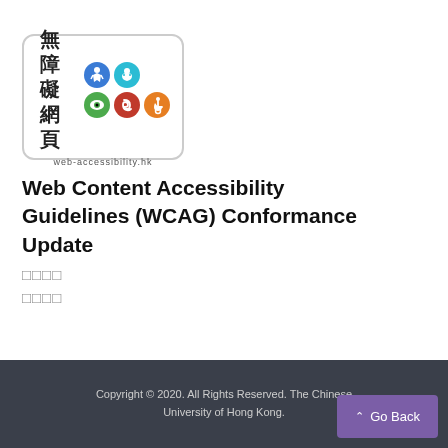[Figure (logo): Web accessibility Hong Kong logo with Chinese characters 無障礙網頁, accessibility icons (person, cognitive, visual, hearing, mobility), and URL web-accessibility.hk]
Web Content Accessibility Guidelines (WCAG) Conformance Update
□□□□
□□□□
Copyright © 2020. All Rights Reserved. The Chinese University of Hong Kong.